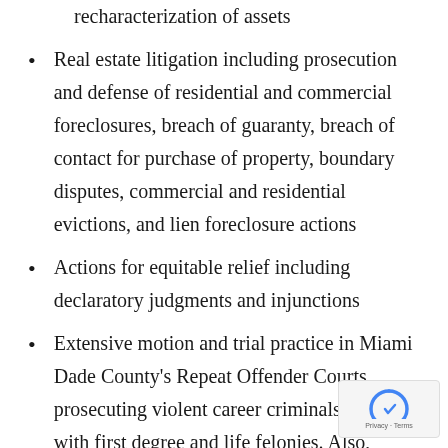recharacterization of assets
Real estate litigation including prosecution and defense of residential and commercial foreclosures, breach of guaranty, breach of contact for purchase of property, boundary disputes, commercial and residential evictions, and lien foreclosure actions
Actions for equitable relief including declaratory judgments and injunctions
Extensive motion and trial practice in Miami Dade County's Repeat Offender Courts prosecuting violent career criminals charged with first degree and life felonies. Also, responsible for